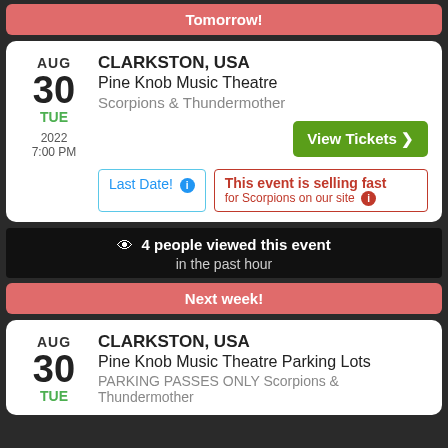Tomorrow!
AUG 30 TUE 2022 7:00 PM — CLARKSTON, USA Pine Knob Music Theatre Scorpions & Thundermother
Last Date! | This event is selling fast for Scorpions on our site
4 people viewed this event in the past hour
Next week!
AUG 30 TUE 2022 — CLARKSTON, USA Pine Knob Music Theatre Parking Lots PARKING PASSES ONLY Scorpions & Thundermother